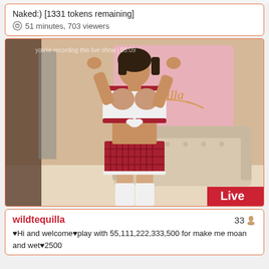Naked:) [1331 tokens remaining]
51 minutes, 703 viewers
[Figure (photo): Live webcam stream screenshot of a woman in a schoolgirl costume (white tied top, red plaid mini skirt, white knee-high socks) posing in a room with a beige sofa. A 'wildtequilla' watermark is visible on a pink background panel. A red 'Live' badge appears in the bottom-right corner.]
wildtequilla
33
♥Hi and welcome♥play with 55,111,222,333,500 for make me moan and wet♥2500